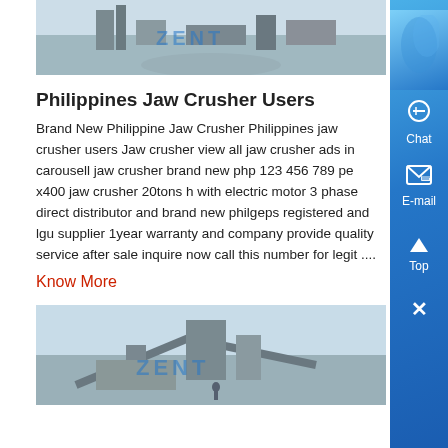[Figure (photo): Mining/crushing plant facility with blue ZENT watermark overlay, top image]
Philippines Jaw Crusher Users
Brand New Philippine Jaw Crusher Philippines jaw crusher users Jaw crusher view all jaw crusher ads in carousell jaw crusher brand new php 123 456 789 pe x400 jaw crusher 20tons h with electric motor 3 phase direct distributor and brand new philgeps registered and lgu supplier 1year warranty and company provide quality service after sale inquire now call this number for legit ....
Know More
[Figure (photo): Mining/crushing plant facility with blue ZENT watermark overlay, bottom image]